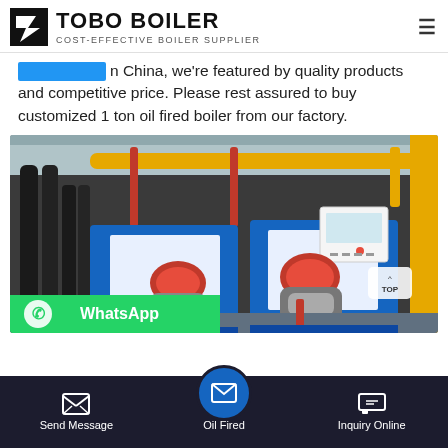TOBO BOILER — COST-EFFECTIVE BOILER SUPPLIER
in China, we're featured by quality products and competitive price. Please rest assured to buy customized 1 ton oil fired boiler from our factory.
[Figure (photo): Industrial boiler room showing two blue oil-fired boilers with red burner heads, yellow and red overhead piping, and white control panels mounted on the boiler fronts.]
WhatsApp
Send Message   Oil Fired   Inquiry Online